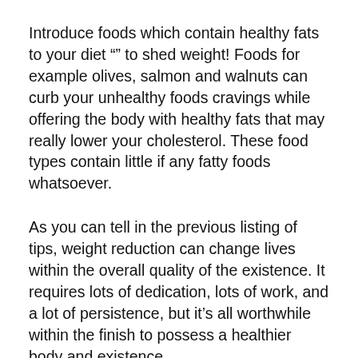Introduce foods which contain healthy fats to your diet "" to shed weight! Foods for example olives, salmon and walnuts can curb your unhealthy foods cravings while offering the body with healthy fats that may really lower your cholesterol. These food types contain little if any fatty foods whatsoever.
As you can tell in the previous listing of tips, weight reduction can change lives within the overall quality of the existence. It requires lots of dedication, lots of work, and a lot of persistence, but it’s all worthwhile within the finish to possess a healthier body and existence.